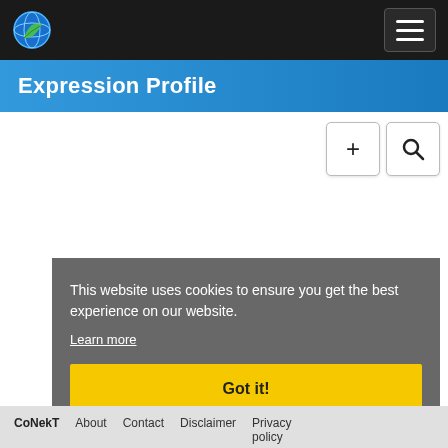Expression Profile
[Figure (screenshot): Two tool buttons: a move/crosshair button (+) and a search/magnifier button]
This website uses cookies to ensure you get the best experience on our website.
Learn more
Got it!
CoNekT  About  Contact  Disclaimer  Privacy policy